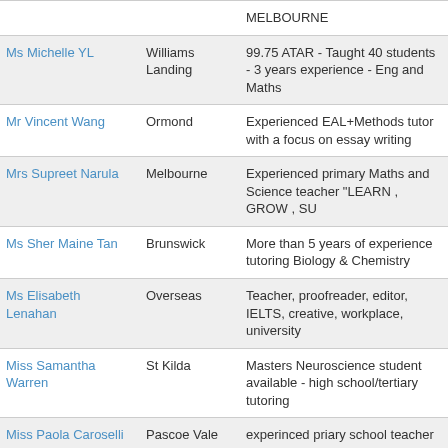| Name | Location | Description |
| --- | --- | --- |
|  |  | MELBOURNE |
| Ms Michelle YL | Williams Landing | 99.75 ATAR - Taught 40 students - 3 years experience - Eng and Maths |
| Mr Vincent Wang | Ormond | Experienced EAL+Methods tutor with a focus on essay writing |
| Mrs Supreet Narula | Melbourne | Experienced primary Maths and Science teacher "LEARN , GROW , SU |
| Ms Sher Maine Tan | Brunswick | More than 5 years of experience tutoring Biology & Chemistry |
| Ms Elisabeth Lenahan | Overseas | Teacher, proofreader, editor, IELTS, creative, workplace, university |
| Miss Samantha Warren | St Kilda | Masters Neuroscience student available - high school/tertiary tutoring |
| Miss Paola Caroselli | Pascoe Vale | experinced priary school teacher |
| Mr Samir Hassan | Meadow Heights | Melbourne Tutor Experienced in Special Needs Education |
| Miss Laetitia | Moonee | Experienced Primary & Secondary |